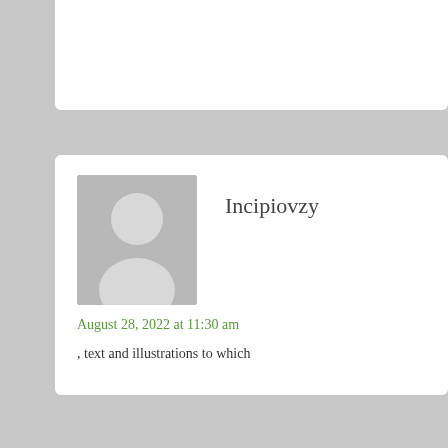[Figure (other): Top of previous comment card, partially visible at top of page]
Incipiovzy
August 28, 2022 at 11:30 am
, text and illustrations to which
Wirelesswoz
August 28, 2022 at 12:13 pm
ancient and medieval Latin,